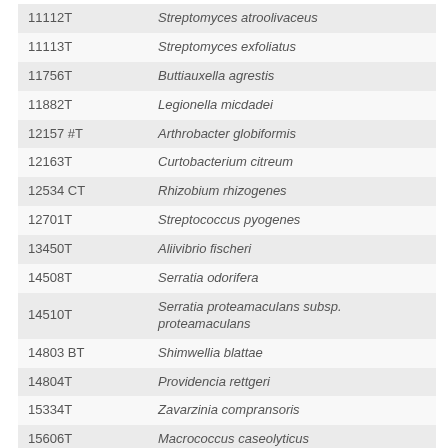| 11112T | Streptomyces atroolivaceus |
| 11113T | Streptomyces exfoliatus |
| 11756T | Buttiauxella agrestis |
| 11882T | Legionella micdadei |
| 12157 #T | Arthrobacter globiformis |
| 12163T | Curtobacterium citreum |
| 12534 CT | Rhizobium rhizogenes |
| 12701T | Streptococcus pyogenes |
| 13450T | Aliivibrio fischeri |
| 14508T | Serratia odorifera |
| 14510T | Serratia proteamaculans subsp. proteamaculans |
| 14803 BT | Shimwellia blattae |
| 14804T | Providencia rettgeri |
| 15334T | Zavarzinia compransoris |
| 15606T | Macrococcus caseolyticus |
| 15716T | Kluyvera ascorbata |